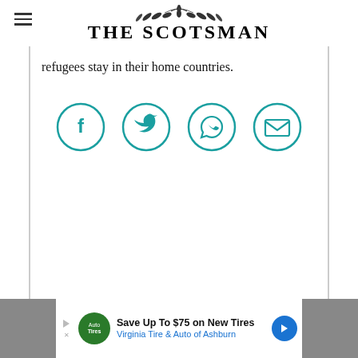THE SCOTSMAN
refugees stay in their home countries.
[Figure (infographic): Four circular social sharing icons in teal: Facebook, Twitter, WhatsApp (phone), and Email (envelope)]
[Figure (infographic): Advertisement banner: Save Up To $75 on New Tires - Virginia Tire & Auto of Ashburn]